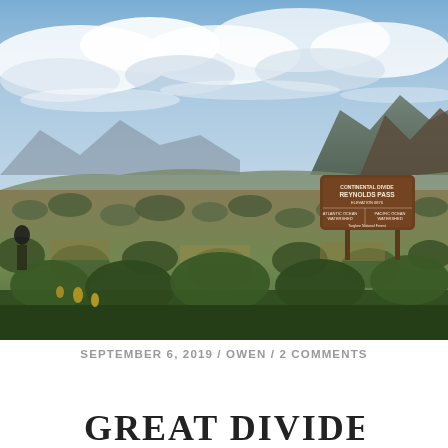[Figure (photo): Outdoor landscape photograph showing Reynolds Pass Continental Divide sign in a sagebrush meadow with mountains in the background under a partly cloudy sky. A brown National Forest sign reads 'Continental Divide, Reynolds Pass, Atlantic Ocean Watershed / Pacific Ocean Watershed'. A person is partially visible on the left side of the frame.]
SEPTEMBER 6, 2019 / OWEN / 2 COMMENTS
GREAT DIVIDE...